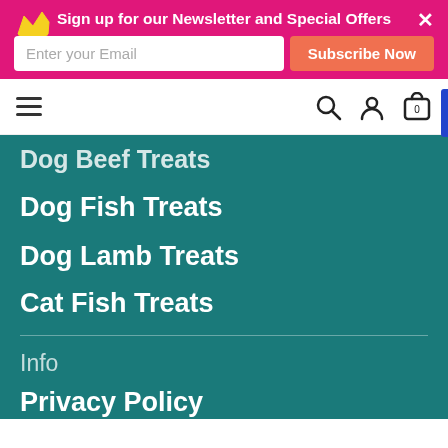Sign up for our Newsletter and Special Offers
Enter your Email
Subscribe Now
[Figure (screenshot): Navigation bar with hamburger menu, search icon, user icon, and cart icon showing 0 items]
Dog Beef Treats
Dog Fish Treats
Dog Lamb Treats
Cat Fish Treats
Info
Privacy Policy
Refund Policy